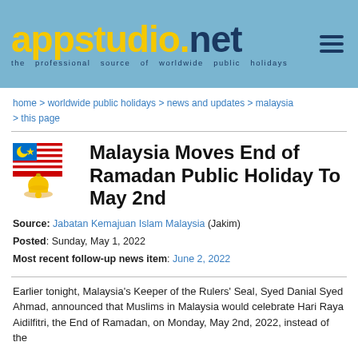appstudio.net – the professional source of worldwide public holidays
home > worldwide public holidays > news and updates > malaysia > this page
Malaysia Moves End of Ramadan Public Holiday To May 2nd
Source: Jabatan Kemajuan Islam Malaysia (Jakim)
Posted: Sunday, May 1, 2022
Most recent follow-up news item: June 2, 2022
Earlier tonight, Malaysia's Keeper of the Rulers' Seal, Syed Danial Syed Ahmad, announced that Muslims in Malaysia would celebrate Hari Raya Aidilfitri, the End of Ramadan, on Monday, May 2nd, 2022, instead of the